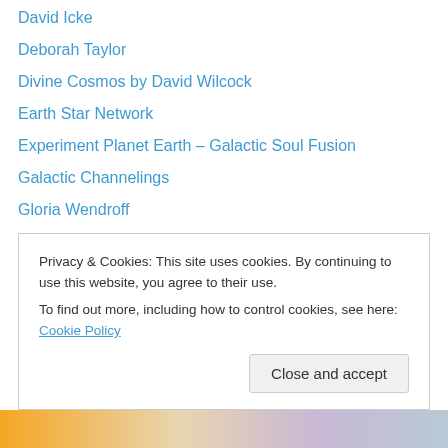David Icke
Deborah Taylor
Divine Cosmos by David Wilcock
Earth Star Network
Experiment Planet Earth – Galactic Soul Fusion
Galactic Channelings
Gloria Wendroff
Golden Age Of Gaia formerly Stevebeckow.com and The2012scenario.com by Steve Beckow
Heather"s I AM website
James Corbett – The Corbett Report
Jamye Price
Jill Renee Feeler
John Smallman blog 1
Privacy & Cookies: This site uses cookies. By continuing to use this website, you agree to their use. To find out more, including how to control cookies, see here: Cookie Policy
Close and accept